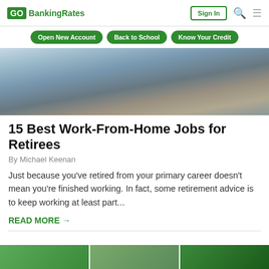GOBankingRates | Sign In
Open New Account | Back to School | Know Your Credit
[Figure (photo): Person sitting on a couch using a laptop computer, wearing jeans and a light blue shirt, viewed from above.]
15 Best Work-From-Home Jobs for Retirees
By Michael Keenan
Just because you've retired from your primary career doesn't mean you're finished working. In fact, some retirement advice is to keep working at least part...
READ MORE →
[Figure (photo): Bottom strip showing partial thumbnails of article images with green tones.]